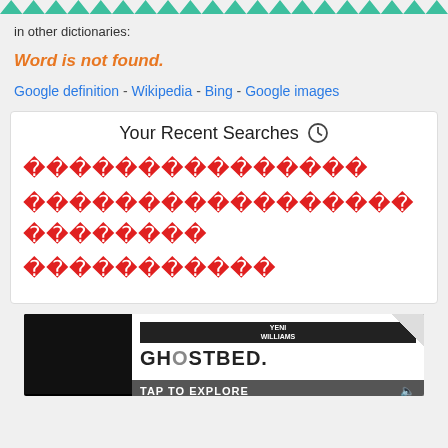[Figure (illustration): Teal zigzag/chevron decorative border at top of page]
in other dictionaries:
Word is not found.
Google definition - Wikipedia - Bing - Google images
[Figure (screenshot): Your Recent Searches panel with clock icon and three lines of garbled red diamond/question-mark characters]
[Figure (screenshot): GhostBed advertisement banner with black left side, Yeni Williams badge, GhostBed logo with peel corner, and TAP TO EXPLORE bar]